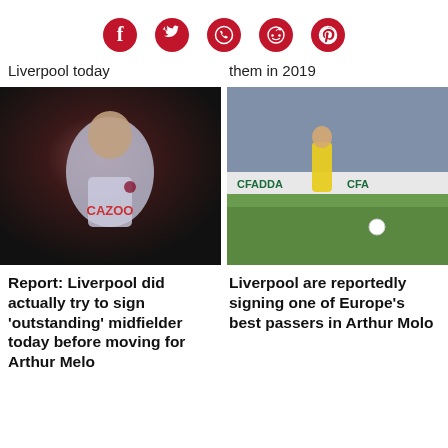[Figure (infographic): Social media share icons: Facebook, Twitter, WhatsApp, Reddit, Pinterest — red circular icons in a row]
Liverpool today
them in 2019
[Figure (photo): Footballer in Aston Villa white/purple Cazoo kit looking down on a dark pitch]
[Figure (photo): Footballer in yellow kit kicking a ball on a pitch with CFADDA advertising boards and crowd in background]
Report: Liverpool did actually try to sign 'outstanding' midfielder today before moving for Arthur Melo
Liverpool are reportedly signing one of Europe's best passers in Arthur Molo